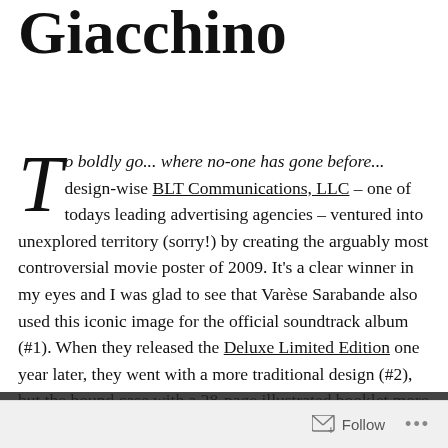Giacchino
To boldly go... where no-one has gone before... design-wise BLT Communications, LLC – one of todays leading advertising agencies – ventured into unexplored territory (sorry!) by creating the arguably most controversial movie poster of 2009. It's a clear winner in my eyes and I was glad to see that Varèse Sarabande also used this iconic image for the official soundtrack album (#1). When they released the Deluxe Limited Edition one year later, they went with a more traditional design (#2), but the bound case with a 28-page illustrated booklet more or less makes up for that.
Follow